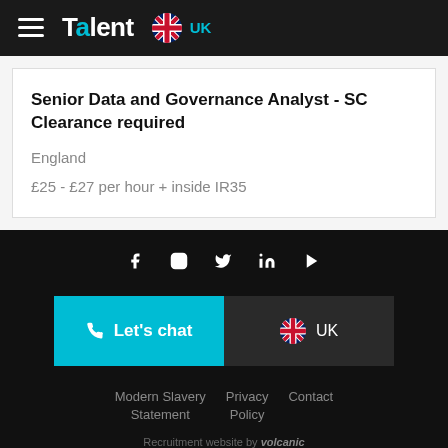Talent UK
Senior Data and Governance Analyst - SC Clearance required
England
£25 - £27 per hour + inside IR35
[Figure (screenshot): Footer with social media icons (Facebook, Instagram, Twitter, LinkedIn, YouTube), a teal Let's chat button, a UK selector button, footer navigation links (Modern Slavery Statement, Privacy Policy, Contact), and a Recruitment website by volcanic credit]
Modern Slavery Statement   Privacy Policy   Contact   Recruitment website by volcanic